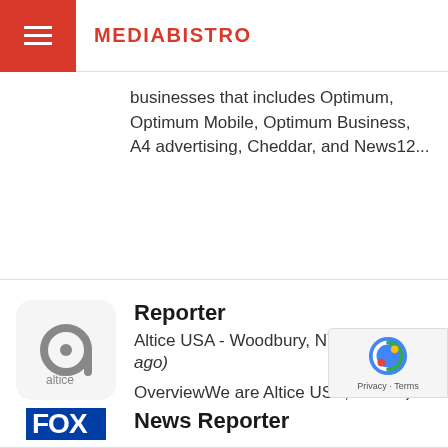MEDIABISTRO
businesses that includes Optimum, Optimum Mobile, Optimum Business, A4 advertising, Cheddar, and News12...
Reporter
Altice USA - Woodbury, NY (13 days ago) OverviewWe are Altice USA; a family of businesses that includes Optimum, Optimum Mobile, Optimum Business, A4 advertising, Cheddar, and News12...
News Reporter